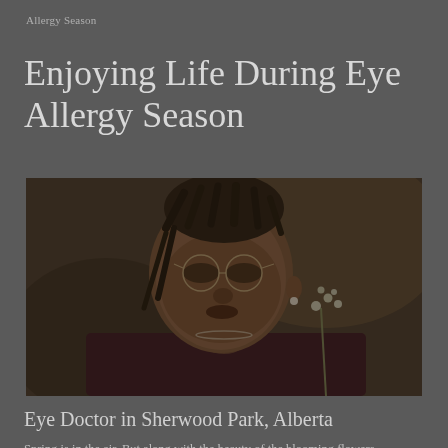Allergy Season
Enjoying Life During Eye Allergy Season
[Figure (photo): A young Black woman with dreadlocks and round wire-frame glasses, wearing a burgundy top and pearl necklace, holding a small white flower cluster close to her face. The background is blurred warm tones. The overall image has a dark, muted tone.]
Eye Doctor in Sherwood Park, Alberta
Spring is in the air. But along with the beauty of the blooming flowers